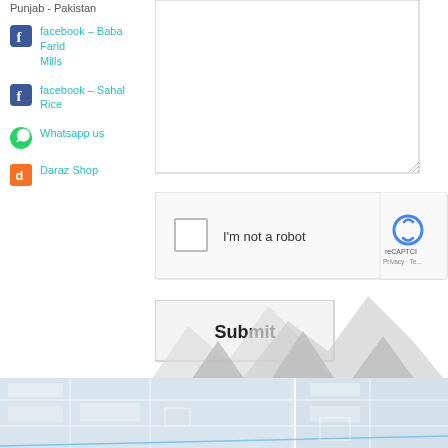Punjab - Pakistan
facebook - Baba Farid Mills
facebook - Sahal Rice
Whatsapp us
Daraz Shop
[Figure (screenshot): Contact form textarea (empty) with resize handle]
[Figure (screenshot): reCAPTCHA widget: checkbox labeled 'I'm not a robot' with reCAPTCHA logo, Privacy and Terms links]
[Figure (screenshot): Submit button]
[Figure (illustration): Decorative mountain/zigzag shapes in light gray]
[Figure (map): Google Maps street map showing a grid of roads in light blue-gray]